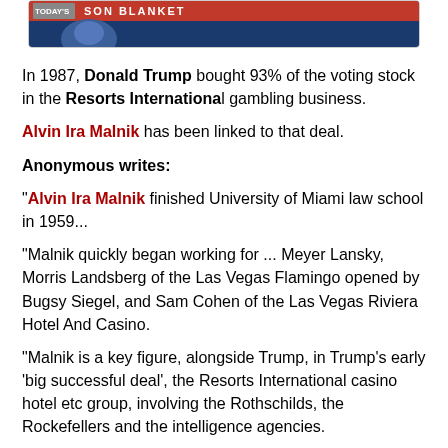[Figure (screenshot): TV news screenshot showing a red banner with text 'SON BLANKET' and a person in the background against a blue background]
In 1987, Donald Trump bought 93% of the voting stock in the Resorts International gambling business.
Alvin Ira Malnik has been linked to that deal.
Anonymous writes:
"Alvin Ira Malnik finished University of Miami law school in 1959...
"Malnik quickly began working for ... Meyer Lansky, Morris Landsberg of the Las Vegas Flamingo opened by Bugsy Siegel, and Sam Cohen of the Las Vegas Riviera Hotel And Casino.
"Malnik is a key figure, alongside Trump, in Trump's early 'big successful deal', the Resorts International casino hotel etc group, involving the Rothschilds, the Rockefellers and the intelligence agencies.